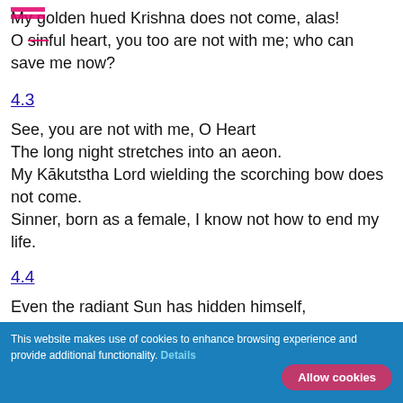My golden hued Krishna does not come, alas!
O sinful heart, you too are not with me; who can save me now?
4.3
See, you are not with me, O Heart
The long night stretches into an aeon.
My Kākutstha Lord wielding the scorching bow does not come.
Sinner, born as a female, I know not how to end my life.
4.4
Even the radiant Sun has hidden himself,
unable to bear the sight of a maiden in distress.
This website makes use of cookies to enhance browsing experience and provide additional functionality. Details